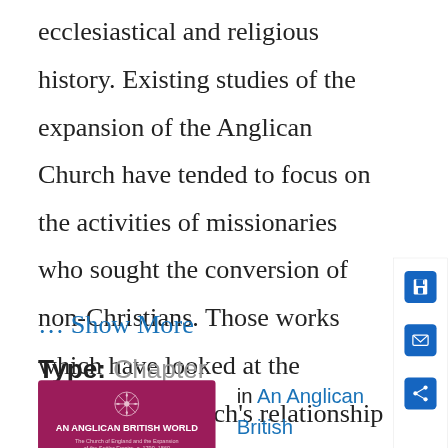ecclesiastical and religious history. Existing studies of the expansion of the Anglican Church have tended to focus on the activities of missionaries who sought the conversion of non-Christians. Those works which have looked at the established Church's relationship with settler communities have not provided a sustained discussion
… Show More
Type: Chapter
[Figure (illustration): Book cover for 'An Anglican British World' — dark magenta/crimson background with a decorative snowflake/compass emblem, bold white title text, and subtitle text about the Church of England and the Settler Empire c. 1790–1860.]
in An Anglican British World
Online Publication
Date: 01 Mar 2017